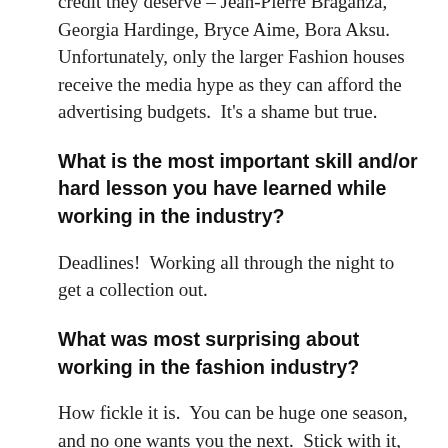credit they deserve – Jean-Pierre Braganza, Georgia Hardinge, Bryce Aime, Bora Aksu.  Unfortunately, only the larger Fashion houses receive the media hype as they can afford the advertising budgets.  It's a shame but true.
What is the most important skill and/or hard lesson you have learned while working in the industry?
Deadlines!  Working all through the night to get a collection out.
What was most surprising about working in the fashion industry?
How fickle it is.  You can be huge one season, and no one wants you the next.  Stick with it, fashion works